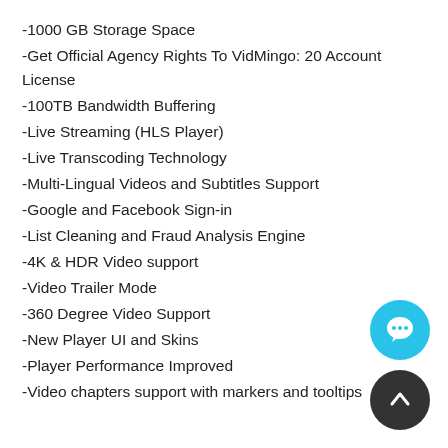-1000 GB Storage Space
-Get Official Agency Rights To VidMingo: 20 Account License
-100TB Bandwidth Buffering
-Live Streaming (HLS Player)
-Live Transcoding Technology
-Multi-Lingual Videos and Subtitles Support
-Google and Facebook Sign-in
-List Cleaning and Fraud Analysis Engine
-4K & HDR Video support
-Video Trailer Mode
-360 Degree Video Support
-New Player UI and Skins
-Player Performance Improved
-Video chapters support with markers and tooltips